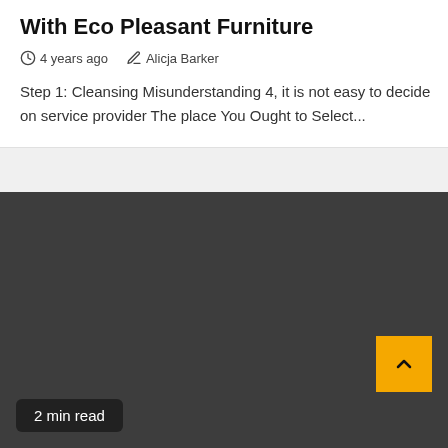With Eco Pleasant Furniture
4 years ago   Alicja Barker
Step 1: Cleansing Misunderstanding 4, it is not easy to decide on service provider The place You Ought to Select...
[Figure (other): Dark gray panel serving as background/image area for a blog post section]
2 min read